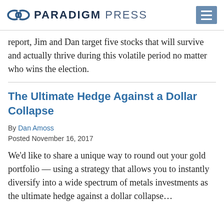PARADIGM PRESS
report, Jim and Dan target five stocks that will survive and actually thrive during this volatile period no matter who wins the election.
The Ultimate Hedge Against a Dollar Collapse
By Dan Amoss
Posted November 16, 2017
We'd like to share a unique way to round out your gold portfolio — using a strategy that allows you to instantly diversify into a wide spectrum of metals investments as the ultimate hedge against a dollar collapse...